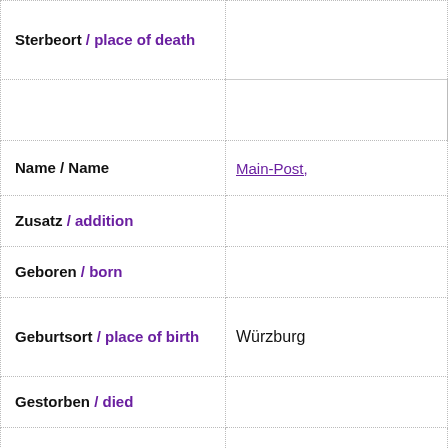| Field | Value |
| --- | --- |
| Sterbeort / place of death |  |
|  |  |
| Name / Name | Main-Post, |
| Zusatz / addition |  |
| Geboren / born |  |
| Geburtsort / place of birth | Würzburg |
| Gestorben / died |  |
| Sterbeort / place of death |  |
|  |  |
| Name / Name | Mannheimer Morgen, |
| Zusatz / addition |  |
| Geboren / born |  |
| Geburtsort / place |  |